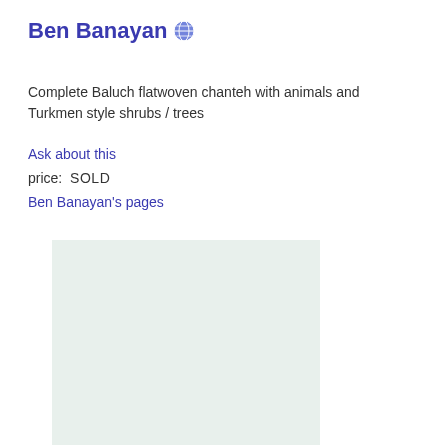Ben Banayan 🌐
Complete Baluch flatwoven chanteh with animals and Turkmen style shrubs / trees
Ask about this
price:  SOLD
Ben Banayan's pages
[Figure (photo): Light green/mint colored rectangular image placeholder, possibly a flatwoven textile or rug image not loaded]